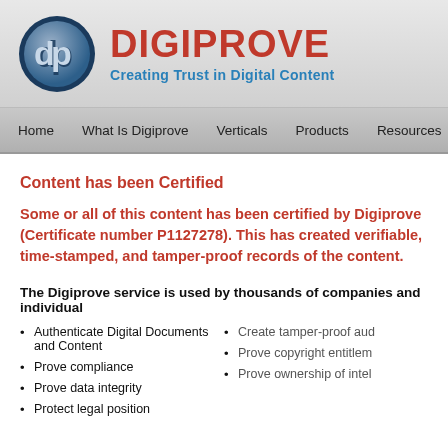[Figure (logo): Digiprove logo: circular badge with 'dp' monogram in dark blue/silver, with the brand name DIGIPROVE in red bold and tagline 'Creating Trust in Digital Content' in blue bold]
Home | What Is Digiprove | Verticals | Products | Resources | Pricing
Content has been Certified
Some or all of this content has been certified by Digiprove (Certificate number P1127278). This has created verifiable, time-stamped, and tamper-proof records of the content.
The Digiprove service is used by thousands of companies and individual
Authenticate Digital Documents and Content
Prove compliance
Prove data integrity
Protect legal position
Create tamper-proof aud
Prove copyright entitlem
Prove ownership of intel